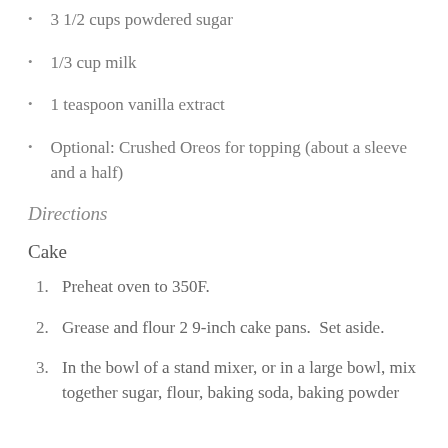3 1/2 cups powdered sugar
1/3 cup milk
1 teaspoon vanilla extract
Optional: Crushed Oreos for topping (about a sleeve and a half)
Directions
Cake
Preheat oven to 350F.
Grease and flour 2 9-inch cake pans.  Set aside.
In the bowl of a stand mixer, or in a large bowl, mix together sugar, flour, baking soda, baking powder